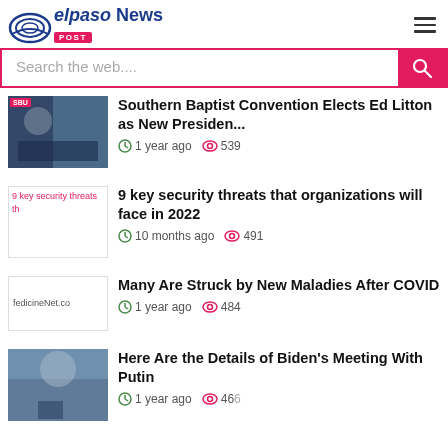elpaso News POST
Search the web....
Southern Baptist Convention Elects Ed Litton as New Presiden...
1 year ago  539
9 key security threats that organizations will face in 2022
10 months ago  491
Many Are Struck by New Maladies After COVID
1 year ago  484
Here Are the Details of Biden's Meeting With Putin
1 year ago  466